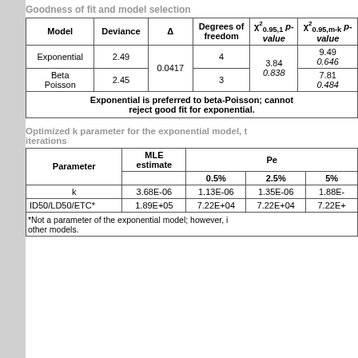Goodness of fit and model selection
| Model | Deviance | Δ | Degrees of freedom | χ²0.95,1 p-value | χ²0.95,m-k p-value |
| --- | --- | --- | --- | --- | --- |
| Exponential | 2.49 | 0.0417 | 4 | 3.84 | 9.49
0.646 |
| Beta Poisson | 2.45 | 0.0417 | 3 | 0.838 | 7.81
0.484 |
Exponential is preferred to beta-Poisson; cannot reject good fit for exponential.
Optimized k parameter for the exponential model, t iterations
| Parameter | MLE estimate | 0.5% | 2.5% | 5% |
| --- | --- | --- | --- | --- |
| k | 3.68E-06 | 1.13E-06 | 1.35E-06 | 1.88E- |
| ID50/LD50/ETC* | 1.89E+05 | 7.22E+04 | 7.22E+04 | 7.22E+ |
*Not a parameter of the exponential model; however, i other models.